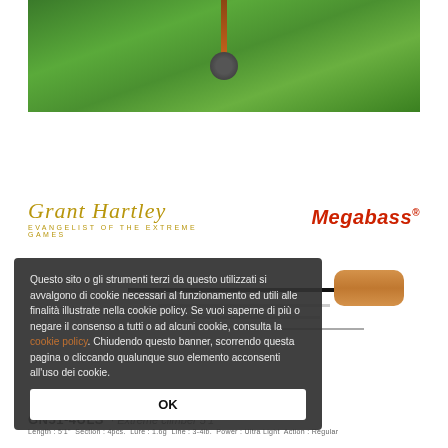[Figure (photo): Photo of a fishing rod lying on green grass/vegetation, rod handle visible, reel attachment visible at top]
[Figure (logo): Grant Hartley cursive script logo with tagline 'EVANGELIST OF THE EXTREME GAMES']
[Figure (logo): Megabass brand logo in red bold text]
[Figure (photo): Fishing rod sections/pieces displayed horizontally showing handle, blank sections in white and black]
Questo sito o gli strumenti terzi da questo utilizzati si avvalgono di cookie necessari al funzionamento ed utili alle finalità illustrate nella cookie policy. Se vuoi saperne di più o negare il consenso a tutti o ad alcuni cookie, consulta la cookie policy. Chiudendo questo banner, scorrendo questa pagina o cliccando qualunque suo elemento acconsenti all'uso dei cookie.
OK
GN51-4ULS · Extreme climber 5'1"
Length : 5'1" Section : 4pcs. Lure : 1.6g Line : 3-4lb. Power : Ultra Light Action : Regular